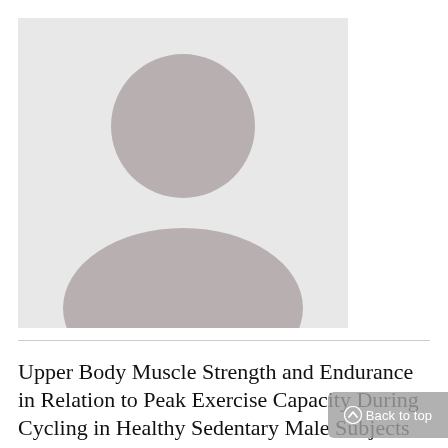[Figure (illustration): Generic avatar placeholder image showing a grey silhouette of a person (head circle and shoulder shape) on a light grey background.]
Upper Body Muscle Strength and Endurance in Relation to Peak Exercise Capacity During Cycling in Healthy Sedentary Male Subjects